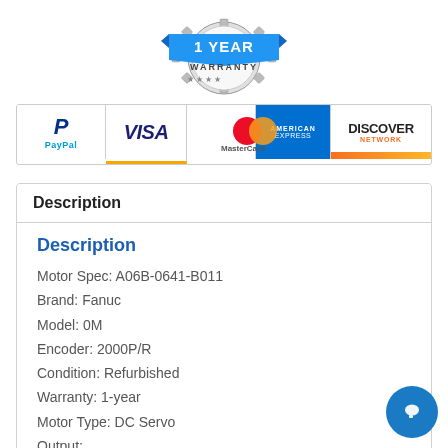[Figure (illustration): 1 Year Warranty badge/seal with blue ribbon banner and gear border]
[Figure (illustration): Payment method icons: PayPal, Visa, MasterCard, American Express, Discover]
Description
Description
Motor Spec: A06B-0641-B011
Brand: Fanuc
Model: 0M
Encoder: 2000P/R
Condition: Refurbished
Warranty: 1-year
Motor Type: DC Servo
Output: